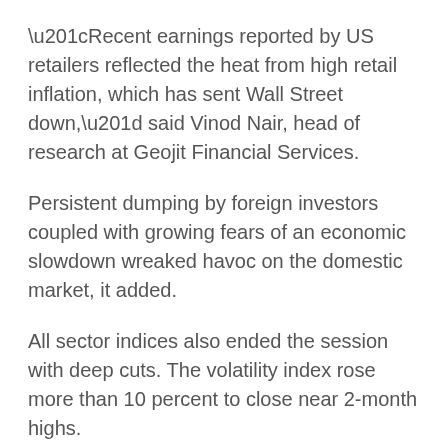“Recent earnings reported by US retailers reflected the heat from high retail inflation, which has sent Wall Street down,” said Vinod Nair, head of research at Geojit Financial Services.
Persistent dumping by foreign investors coupled with growing fears of an economic slowdown wreaked havoc on the domestic market, it added.
All sector indices also ended the session with deep cuts. The volatility index rose more than 10 percent to close near 2-month highs.
The Nifty IT Index was the biggest loser among sub-indices with a 5.8 percent drop. IT majors Infosys, Tech Mahindra and Wipro were the main laggards in the Nifty 50, falling more than 5-6 percent each.